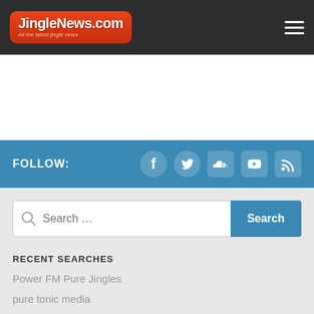JingleNews.com - All the latest jingle news
FOLLOW:
RECENT SEARCHES
Power FM Pure Jingles
pure tonic media
microjams
5 live
ONEfm